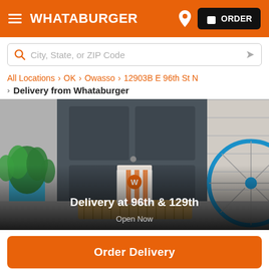WHATABURGER — ORDER
City, State, or ZIP Code
All Locations > OK > Owasso > 12903B E 96th St N
> Delivery from Whataburger
[Figure (photo): Whataburger delivery bag sitting on a doorstep welcome mat in front of a dark door, with a teal plant pot on the left and a bicycle wheel on the right. Overlay text: Delivery at 96th & 129th, Open Now.]
Order Delivery